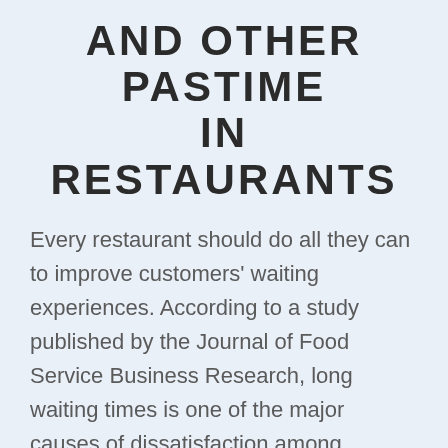AND OTHER PASTIME IN RESTAURANTS
Every restaurant should do all they can to improve customers' waiting experiences. According to a study published by the Journal of Food Service Business Research, long waiting times is one of the major causes of dissatisfaction among restaurant customers. Altering your waiting experience can give you a competitive advantage over other